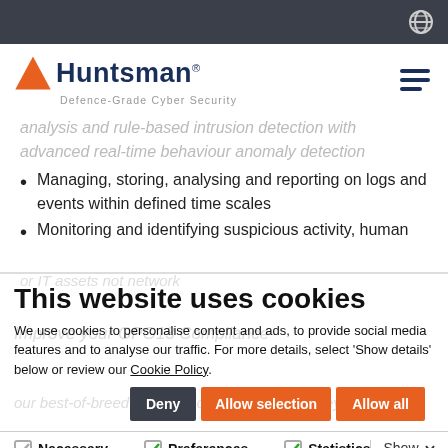Huntsman - Defence-Grade Cyber Security
analysis and rule-based intrusion detection with advanced real-time behaviour anomaly detection
Managing, storing, analysing and reporting on logs and events within defined time scales
Monitoring and identifying suspicious activity, human or IT assets not network
This website uses cookies
We use cookies to personalise content and ads, to provide social media features and to analyse our traffic. For more details, select 'Show details' below or review our Cookie Policy.
Deny | Allow selection | Allow all
Necessary | Preferences | Statistics | Marketing | Show details